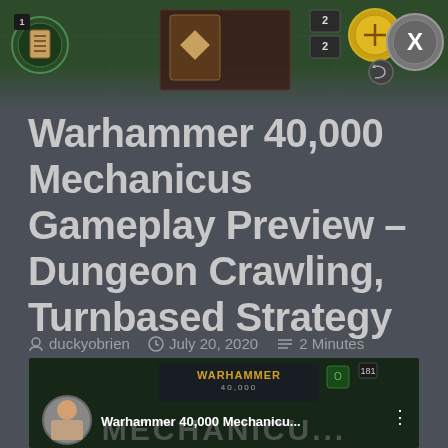[Figure (screenshot): Game UI screenshot from Warhammer 40,000 Mechanicus showing dark game interface with icons, cards, and HUD elements on a green-tinted background]
Warhammer 40,000 Mechanicus Gameplay Preview – Dungeon Crawling, Turnbased Strategy
duckyobrien   July 20, 2020   2 Minutes
[Figure (screenshot): Video thumbnail showing Warhammer 40,000 Mechanicus gameplay with a person avatar, game title text, and dark tactical game background]